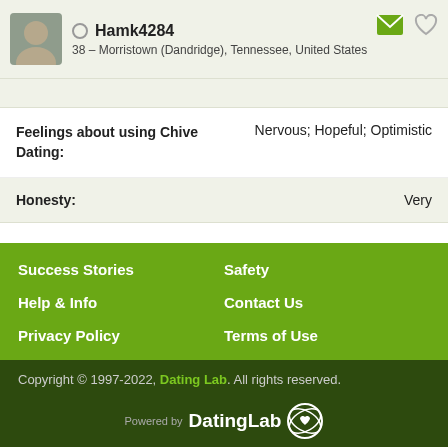Hamk4284 — 38 – Morristown (Dandridge), Tennessee, United States
Feelings about using Chive Dating: Nervous; Hopeful; Optimistic
Honesty: Very
Success Stories
Safety
Help & Info
Contact Us
Privacy Policy
Terms of Use
Copyright © 1997-2022, Dating Lab. All rights reserved.